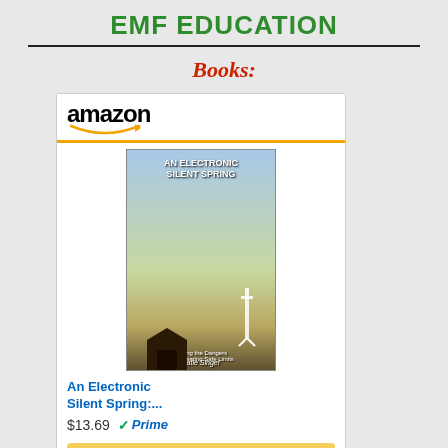EMF EDUCATION
Books:
[Figure (screenshot): Amazon widget showing book 'An Electronic Silent Spring' by Katie Singer, priced at $13.69 with Prime, and a 'Shop now' button.]
One of the most readable books on the subject! Thoroughly researched with clear explanations of EMF and how to protect yourself. Covers most